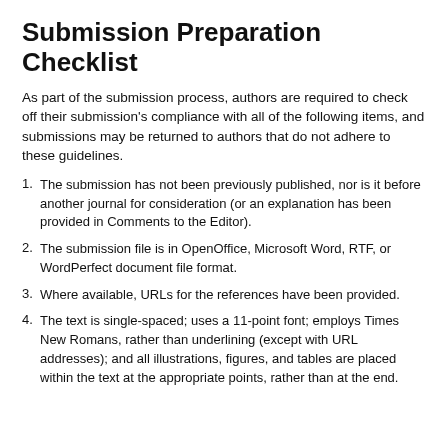Submission Preparation Checklist
As part of the submission process, authors are required to check off their submission’s compliance with all of the following items, and submissions may be returned to authors that do not adhere to these guidelines.
The submission has not been previously published, nor is it before another journal for consideration (or an explanation has been provided in Comments to the Editor).
The submission file is in OpenOffice, Microsoft Word, RTF, or WordPerfect document file format.
Where available, URLs for the references have been provided.
The text is single-spaced; uses a 11-point font; employs Times New Romans, rather than underlining (except with URL addresses); and all illustrations, figures, and tables are placed within the text at the appropriate points, rather than at the end.